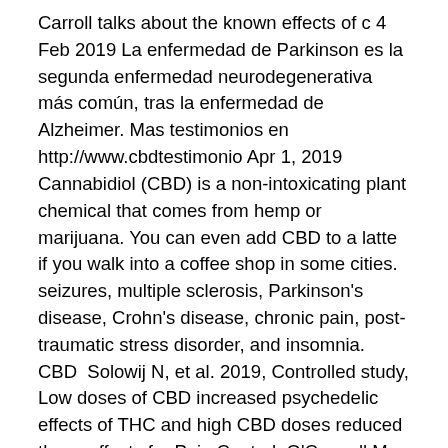Carroll talks about the known effects of c 4 Feb 2019 La enfermedad de Parkinson es la segunda enfermedad neurodegenerativa más común, tras la enfermedad de Alzheimer. Mas testimonios en http://www.cbdtestimonio Apr 1, 2019 Cannabidiol (CBD) is a non-intoxicating plant chemical that comes from hemp or marijuana. You can even add CBD to a latte if you walk into a coffee shop in some cities. seizures, multiple sclerosis, Parkinson's disease, Crohn's disease, chronic pain, post-traumatic stress disorder, and insomnia. CBD  Solowij N, et al. 2019, Controlled study, Low doses of CBD increased psychedelic effects of THC and high CBD doses reduced these effects for Pain Control. O'Connell M, Sandgren M, Frantzen L, Bower E, Erickson B. 2019, Open study, Cannabis reduces opioid use by pain patients Show, Parkinson's disease, Medical Cannabis in Parkinson Disease: Real-Life Patients' Experience, Balash Y et al. Tetrahydrocannabinol (THC) is one of at least 113 cannabinoids identified in cannabis. THC is the principal